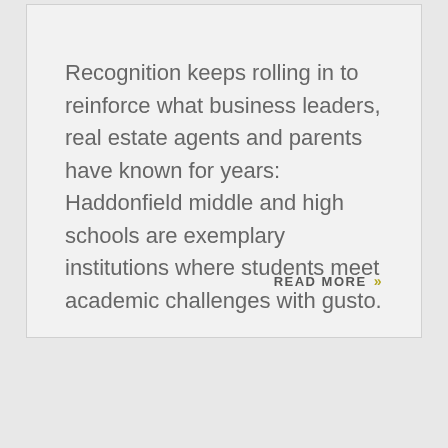Recognition keeps rolling in to reinforce what business leaders, real estate agents and parents have known for years: Haddonfield middle and high schools are exemplary institutions where students meet academic challenges with gusto.
READ MORE »